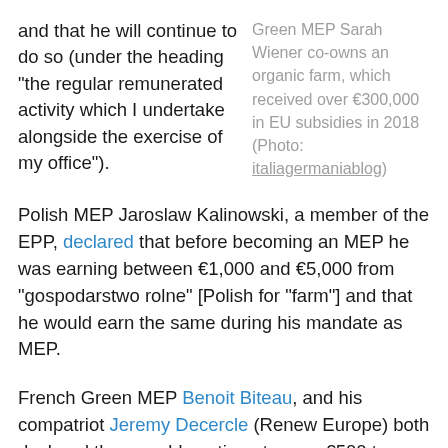and that he will continue to do so (under the heading "the regular remunerated activity which I undertake alongside the exercise of my office").
Green MEP Sarah Wiener co-owns an organic farm, which received over €300,000 in EU subsidies in 2018 (Photo: italiagermaniablog)
Polish MEP Jaroslaw Kalinowski, a member of the EPP, declared that before becoming an MEP he was earning between €1,000 and €5,000 from "gospodarstwo rolne" [Polish for "farm"] and that he would earn the same during his mandate as MEP.
French Green MEP Benoit Biteau, and his compatriot Jeremy Decercle (Renew Europe) both declared they would continue to earn €500 to €1,000 per month as farmers.